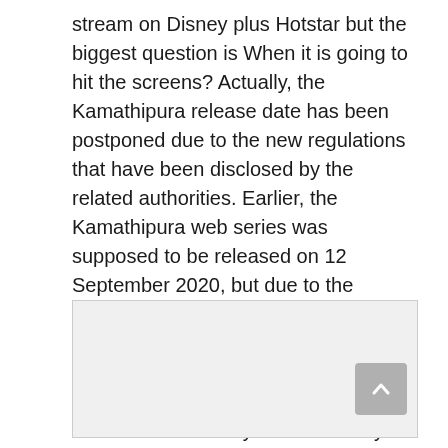stream on Disney plus Hotstar but the biggest question is When it is going to hit the screens? Actually, the Kamathipura release date has been postponed due to the new regulations that have been disclosed by the related authorities. Earlier, the Kamathipura web series was supposed to be released on 12 September 2020, but due to the coronavirus pandemic the production got a delay and the release date shifted to 8 March 2021. Now, it is again postponed to another date, which is not officially announced by the makers.
[Figure (other): A light grey rectangular image placeholder box with a scroll-to-top button (chevron up arrow) in the bottom-right corner.]